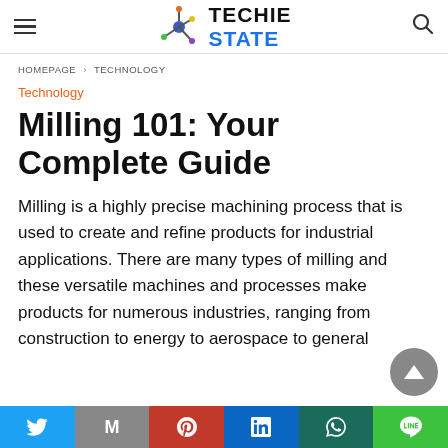TECHIE STATE
HOMEPAGE > TECHNOLOGY
Technology
Milling 101: Your Complete Guide
Milling is a highly precise machining process that is used to create and refine products for industrial applications. There are many types of milling and these versatile machines and processes make products for numerous industries, ranging from construction to energy to aerospace to general